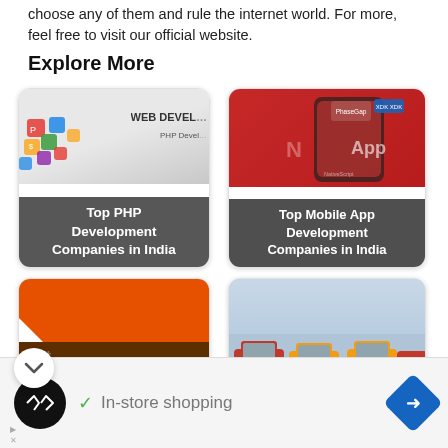choose any of them and rule the internet world. For more, feel free to visit our official website.
Explore More
[Figure (screenshot): Card showing 'Top PHP Development Companies in India' with colorful 3D icons on grey/white background and dark overlay with white text]
[Figure (screenshot): Card showing 'Top Mobile App Development Companies in India' on red background with smartphone and technology logos]
[Figure (screenshot): Card showing 'Top Magento' on orange background, partially visible]
[Figure (screenshot): Card showing taxi cars, partially visible]
In-store shopping